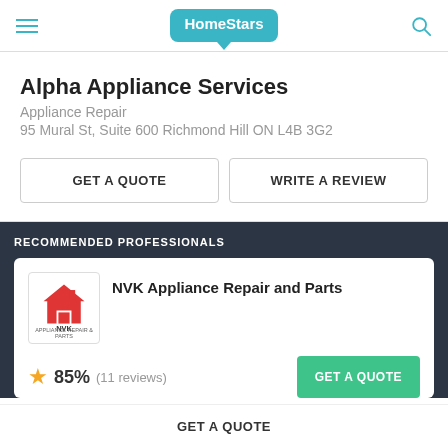HomeStars
Alpha Appliance Services
Appliance Repair
95 Mural St, Suite 600 Richmond Hill ON L4B 3G2
GET A QUOTE
WRITE A REVIEW
RECOMMENDED PROFESSIONALS
NVK Appliance Repair and Parts
85% (11 reviews)
GET A QUOTE
GET A QUOTE